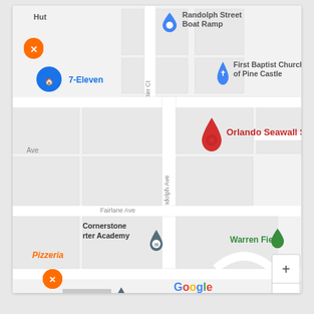[Figure (map): Google Maps screenshot showing Orlando Seawall Service location near Randolph Ave in Pine Castle area, Orlando. Nearby landmarks include Randolph Street Boat Ramp, First Baptist Church of Pine Castle, 7-Eleven, Cornerstone Charter Academy, Warren Field, and a Pizzeria. Map shows streets including Randolph Ave, Birr Ct, Fairlane Ave, Embassy St, and Matche. Google logo and copyright 2022 visible at bottom. Zoom controls (+/-) visible at bottom right.]